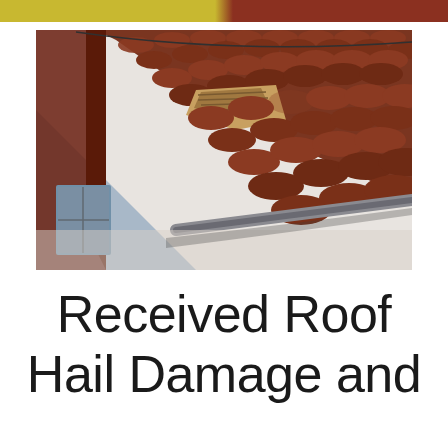[Figure (photo): Photograph of a house roof with terracotta/clay tiles showing hail damage. The roof peak is visible at an angle with missing and displaced tiles revealing the underlying structure. A grey metal rain gutter runs along the eave. White stucco walls are visible below. The sky in the background is overcast grey-blue.]
Received Roof Hail Damage and